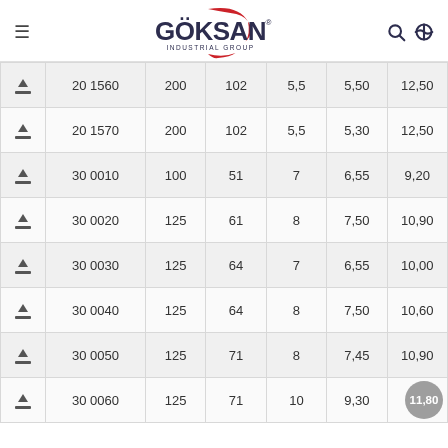[Figure (logo): Goksan Industrial Group logo with hamburger menu icon on left and search/globe icons on right]
|  | Code | Col1 | Col2 | Col3 | Col4 | Col5 |
| --- | --- | --- | --- | --- | --- | --- |
| ↓ | 20 1560 | 200 | 102 | 5,5 | 5,50 | 12,50 |
| ↓ | 20 1570 | 200 | 102 | 5,5 | 5,30 | 12,50 |
| ↓ | 30 0010 | 100 | 51 | 7 | 6,55 | 9,20 |
| ↓ | 30 0020 | 125 | 61 | 8 | 7,50 | 10,90 |
| ↓ | 30 0030 | 125 | 64 | 7 | 6,55 | 10,00 |
| ↓ | 30 0040 | 125 | 64 | 8 | 7,50 | 10,60 |
| ↓ | 30 0050 | 125 | 71 | 8 | 7,45 | 10,90 |
| ↓ | 30 0060 | 125 | 71 | 10 | 9,30 | 11,80 |